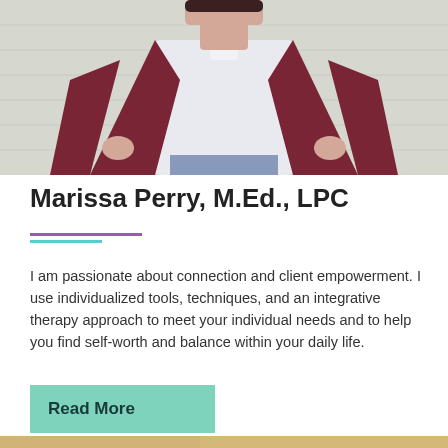[Figure (photo): Photo of Marissa Perry wearing a dark maroon/burgundy cardigan over a white shirt, hands on hips, standing in front of a light-colored exterior wall]
Marissa Perry, M.Ed., LPC
I am passionate about connection and client empowerment. I use individualized tools, techniques, and an integrative therapy approach to meet your individual needs and to help you find self-worth and balance within your daily life.
Read More
[Figure (photo): Partial photo visible at the bottom of the page, warm toned background]